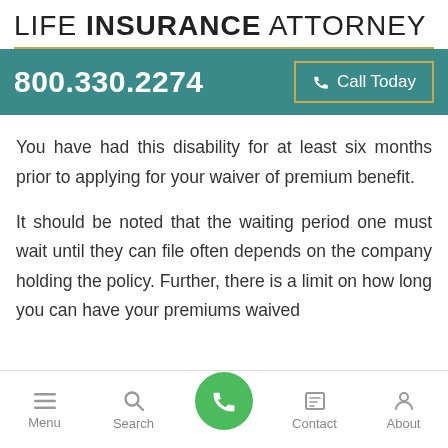LIFE INSURANCE ATTORNEY
800.330.2274  Call Today
You have had this disability for at least six months prior to applying for your waiver of premium benefit.
It should be noted that the waiting period one must wait until they can file often depends on the company holding the policy. Further, there is a limit on how long you can have your premiums waived
Menu  Search  Contact  About